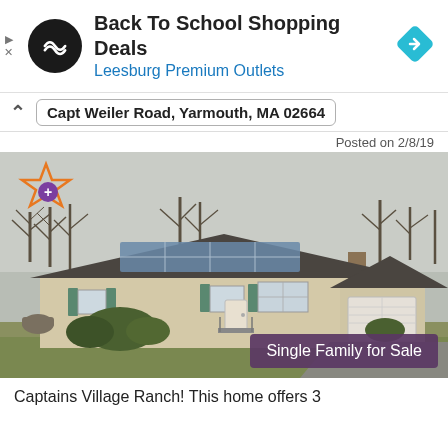[Figure (other): Ad banner: Back To School Shopping Deals at Leesburg Premium Outlets with navigation icons]
Capt Weiler Road, Yarmouth, MA 02664
Posted on 2/8/19
[Figure (photo): Ranch-style single family home with solar panels on roof, two-car garage, shrubs, bare trees in background, winter lawn. Badge reads: Single Family for Sale]
Captains Village Ranch! This home offers 3